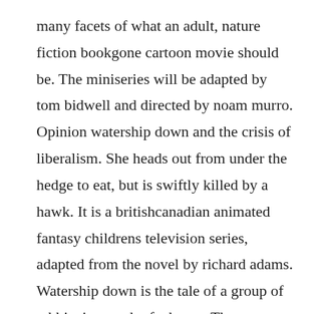many facets of what an adult, nature fiction bookgone cartoon movie should be. The miniseries will be adapted by tom bidwell and directed by noam murro. Opinion watership down and the crisis of liberalism. She heads out from under the hedge to eat, but is swiftly killed by a hawk. It is a britishcanadian animated fantasy childrens television series, adapted from the novel by richard adams. Watership down is the tale of a group of rabbits in search of a home. The watership down rabbits make friends with a badger